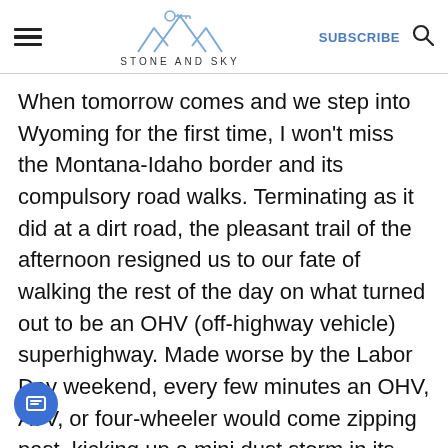STONE AND SKY — SUBSCRIBE
When tomorrow comes and we step into Wyoming for the first time, I won't miss the Montana-Idaho border and its compulsory road walks. Terminating as it did at a dirt road, the pleasant trail of the afternoon resigned us to our fate of walking the rest of the day on what turned out to be an OHV (off-highway vehicle) superhighway. Made worse by the Labor Day weekend, every few minutes an OHV, ATV, or four-wheeler would come zipping past, kicking up a mini dust storm in its wake for good measure. It was